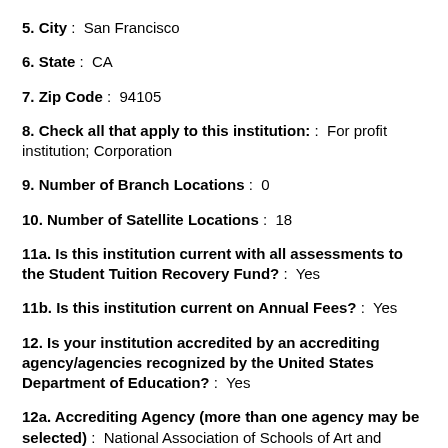5. City :  San Francisco
6. State :  CA
7. Zip Code :  94105
8. Check all that apply to this institution: :  For profit institution; Corporation
9. Number of Branch Locations :  0
10. Number of Satellite Locations :  18
11a. Is this institution current with all assessments to the Student Tuition Recovery Fund? :  Yes
11b. Is this institution current on Annual Fees? :  Yes
12. Is your institution accredited by an accrediting agency/agencies recognized by the United States Department of Education? :  Yes
12a. Accrediting Agency (more than one agency may be selected) :  National Association of Schools of Art and